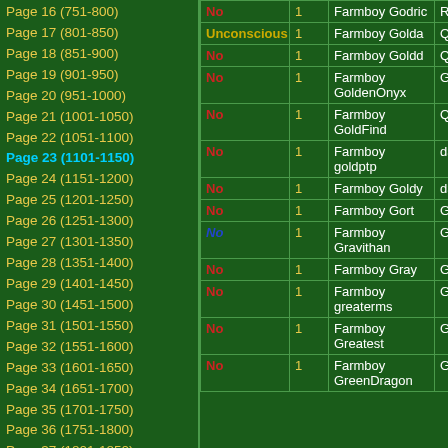Page 16 (751-800)
Page 17 (801-850)
Page 18 (851-900)
Page 19 (901-950)
Page 20 (951-1000)
Page 21 (1001-1050)
Page 22 (1051-1100)
Page 23 (1101-1150) [current]
Page 24 (1151-1200)
Page 25 (1201-1250)
Page 26 (1251-1300)
Page 27 (1301-1350)
Page 28 (1351-1400)
Page 29 (1401-1450)
Page 30 (1451-1500)
Page 31 (1501-1550)
Page 32 (1551-1600)
Page 33 (1601-1650)
Page 34 (1651-1700)
Page 35 (1701-1750)
Page 36 (1751-1800)
Page 37 (1801-1850)
Page 38 (1851-1900)
Page 39 (1901-1908)
| Status | Num | Name | Guild |
| --- | --- | --- | --- |
| No | 1 | Farmboy Godric | Rom |
| Unconscious | 1 | Farmboy Golda | Qex |
| No | 1 | Farmboy Goldd | Qex |
| No | 1 | Farmboy GoldenOnyx | Gluk |
| No | 1 | Farmboy GoldFind | Qex |
| No | 1 | Farmboy goldptp | d3js |
| No | 1 | Farmboy Goldy | d3js |
| No | 1 | Farmboy Gort | Glor |
| No | 1 | Farmboy Gravithan | Glor |
| No | 1 | Farmboy Gray | Gluk |
| No | 1 | Farmboy greaterms | Glor |
| No | 1 | Farmboy Greatest | Glor |
| No | 1 | Farmboy GreenDragon | Glor |